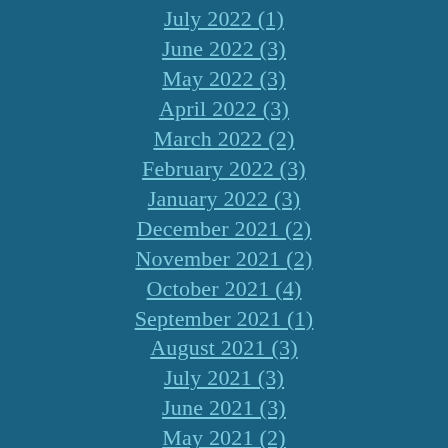July 2022 (1)
June 2022 (3)
May 2022 (3)
April 2022 (3)
March 2022 (2)
February 2022 (3)
January 2022 (3)
December 2021 (2)
November 2021 (2)
October 2021 (4)
September 2021 (1)
August 2021 (3)
July 2021 (3)
June 2021 (3)
May 2021 (2)
April 2021 (3)
March 2021 (3)